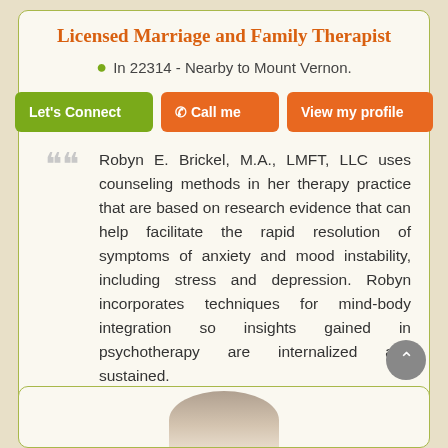Licensed Marriage and Family Therapist
In 22314 - Nearby to Mount Vernon.
Let's Connect  | Call me | View my profile
Robyn E. Brickel, M.A., LMFT, LLC uses counseling methods in her therapy practice that are based on research evidence that can help facilitate the rapid resolution of symptoms of anxiety and mood instability, including stress and depression. Robyn incorporates techniques for mind-body integration so insights gained in psychotherapy are internalized and sustained.
[Figure (photo): Partial photo of a person (therapist) visible at bottom of page, cropped]